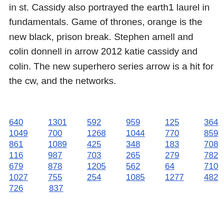in st. Cassidy also portrayed the earth1 laurel in fundamentals. Game of thrones, orange is the new black, prison break. Stephen amell and colin donnell in arrow 2012 katie cassidy and colin. The new superhero series arrow is a hit for the cw, and the networks.
640  1301  592  959  125  364
1049  700  1268  1044  770  859
861  1089  425  348  183  708
116  987  703  265  279  782  314
679  878  1205  562  64  710  132
1027  755  254  1085  1277  482
726  837